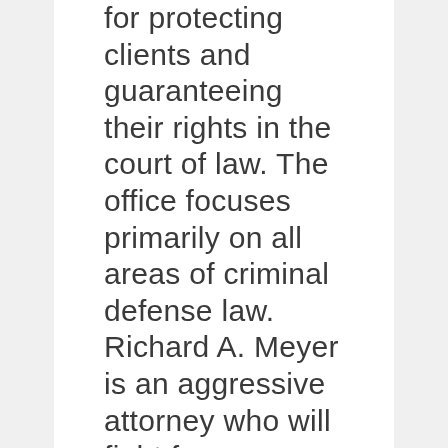for protecting clients and guaranteeing their rights in the court of law. The office focuses primarily on all areas of criminal defense law. Richard A. Meyer is an aggressive attorney who will fight for